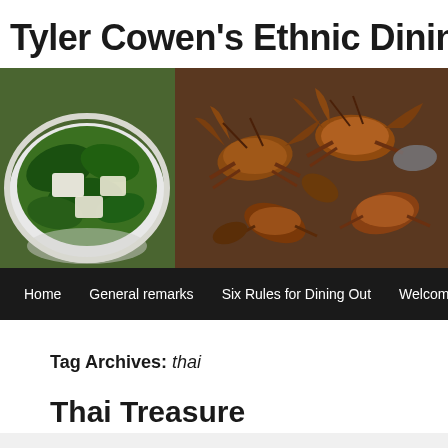Tyler Cowen's Ethnic Dining G
[Figure (photo): Header banner with two food photos side by side: left shows a bowl of green vegetable and tofu soup, right shows a plate of fried crabs]
[Figure (screenshot): Navigation bar with black background showing menu items: Home, General remarks, Six Rules for Dining Out, Welcome]
Tag Archives: thai
Thai Treasure